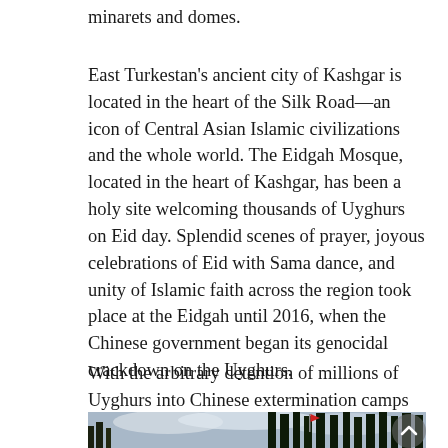minarets and domes.
East Turkestan's ancient city of Kashgar is located in the heart of the Silk Road—an icon of Central Asian Islamic civilizations and the whole world. The Eidgah Mosque, located in the heart of Kashgar, has been a holy site welcoming thousands of Uyghurs on Eid day. Splendid scenes of prayer, joyous celebrations of Eid with Sama dance, and unity of Islamic faith across the region took place at the Eidgah until 2016, when the Chinese government began its genocidal crackdown on the Uyghurs.
With the arbitrary detention of millions of Uyghurs into Chinese extermination camps came the end of the joyous Islamic expression that
[Figure (photo): Outdoor photo showing tall dark trees (likely poplars) against a cloudy sky, with a red flag visible among the trees and what appears to be a minaret or tower at the left edge.]